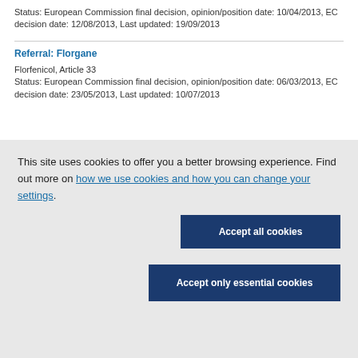Status: European Commission final decision, opinion/position date: 10/04/2013, EC decision date: 12/08/2013, Last updated: 19/09/2013
Referral: Florgane
Florfenicol, Article 33
Status: European Commission final decision, opinion/position date: 06/03/2013, EC decision date: 23/05/2013, Last updated: 10/07/2013
This site uses cookies to offer you a better browsing experience. Find out more on how we use cookies and how you can change your settings.
Accept all cookies
Accept only essential cookies